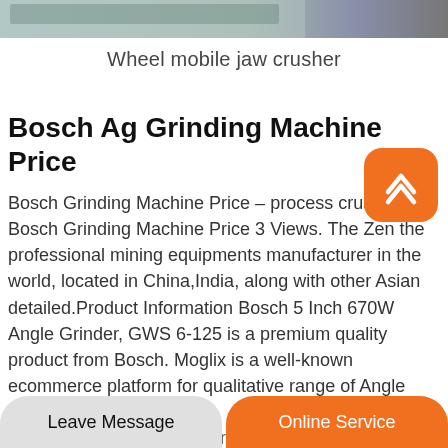[Figure (photo): Partial image of a wheel mobile jaw crusher machine, industrial equipment on ground]
Wheel mobile jaw crusher
Bosch Ag Grinding Machine Price
Bosch Grinding Machine Price – process crusher, Bosch Grinding Machine Price 3 Views. The Zen the professional mining equipments manufacturer in the world, located in China,India, along with other Asian detailed.Product Information Bosch 5 Inch 670W Angle Grinder, GWS 6-125 is a premium quality product from Bosch. Moglix is a well-known ecommerce platform for qualitative range of Angle Grinders.All manufactured by distributor.
Leave Message | Online Service